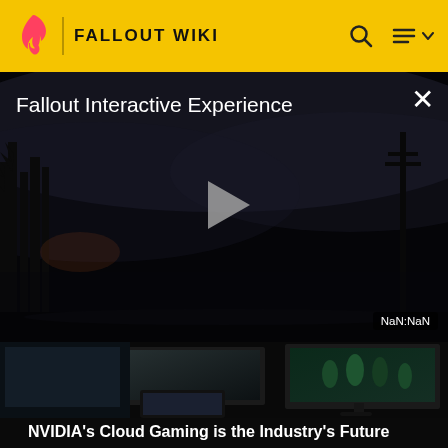FALLOUT WIKI
[Figure (screenshot): Video player showing 'Fallout Interactive Experience' with a dark post-apocalyptic scene, play button in center, close (X) button top right, timer showing NaN:NaN at bottom right]
[Figure (screenshot): Thumbnail image showing NVIDIA cloud gaming setup with multiple monitors displaying game footage]
NVIDIA's Cloud Gaming is the Industry's Future